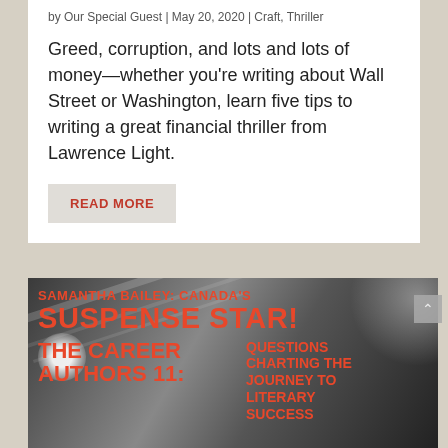by Our Special Guest | May 20, 2020 | Craft, Thriller
Greed, corruption, and lots and lots of money—whether you're writing about Wall Street or Washington, learn five tips to writing a great financial thriller from Lawrence Light.
READ MORE
[Figure (photo): Dark atmospheric image of what appears to be a train station or corridor with light streaks, overlaid with large orange bold text reading: SAMANTHA BAILEY: CANADA'S SUSPENSE STAR! THE CAREER AUTHORS 11: QUESTIONS CHARTING THE JOURNEY TO LITERARY SUCCESS]